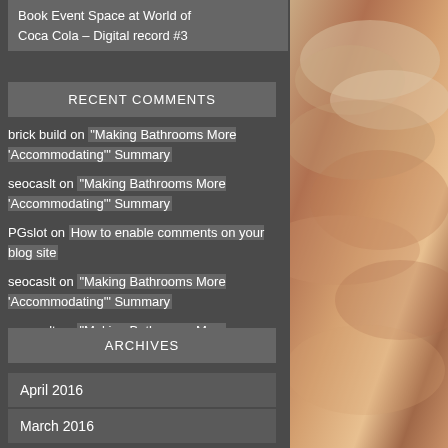Book Event Space at World of Coca Cola – Digital record #3
RECENT COMMENTS
brick build on "Making Bathrooms More 'Accommodating'" Summary
seocaslt on "Making Bathrooms More 'Accommodating'" Summary
PGslot on How to enable comments on your blog site
seocaslt on "Making Bathrooms More 'Accommodating'" Summary
seocaslt on "Making Bathrooms More 'Accommodating'" Summary
ARCHIVES
April 2016
March 2016
[Figure (photo): Outdoor sky photo with warm orange and brown tones, clouds visible]